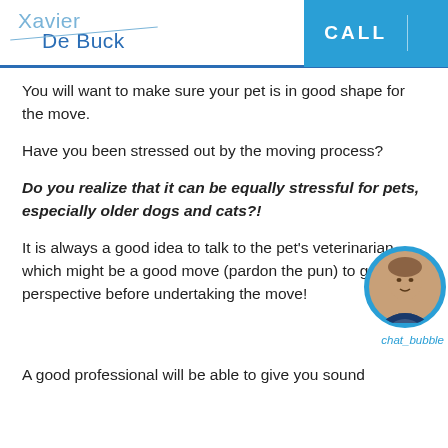Xavier De Buck | CALL
You will want to make sure your pet is in good shape for the move.
Have you been stressed out by the moving process?
Do you realize that it can be equally stressful for pets, especially older dogs and cats?!
It is always a good idea to talk to the pet’s veterinarian – which might be a good move (pardon the pun) to get their perspective before undertaking the move!
A good professional will be able to give you sound